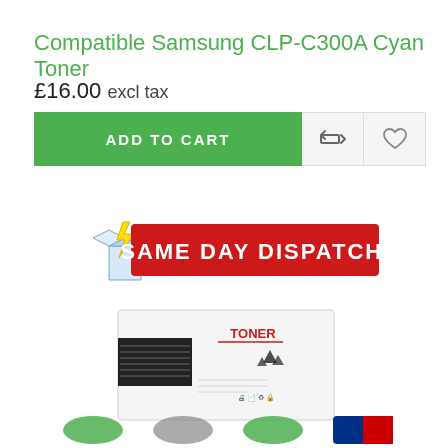Compatible Samsung CLP-C300A Cyan Toner
£16.00 excl tax
[Figure (screenshot): E-commerce product page showing Add to Cart button (green), compare icon button, and wishlist heart icon button]
[Figure (illustration): Same Day Dispatch* promotional banner with lightning bolt and open box graphic on red background]
[Figure (photo): White toner cartridge box with TONER label and black toner print head graphic]
[Figure (illustration): Row of small trust/badge icons at bottom of page]